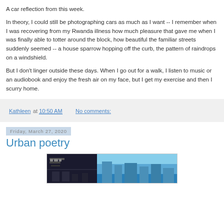A car reflection from this week.
In theory, I could still be photographing cars as much as I want -- I remember when I was recovering from my Rwanda illness how much pleasure that gave me when I was finally able to totter around the block, how beautiful the familiar streets suddenly seemed -- a house sparrow hopping off the curb, the pattern of raindrops on a windshield.
But I don't linger outside these days. When I go out for a walk, I listen to music or an audiobook and enjoy the fresh air on my face, but I get my exercise and then I scurry home.
Kathleen at 10:50 AM   No comments:
Friday, March 27, 2020
Urban poetry
[Figure (photo): A photograph of an urban scene with blue sky, showing what appears to be storefronts or signage with dark metalwork on the left side and blue sky on the right.]